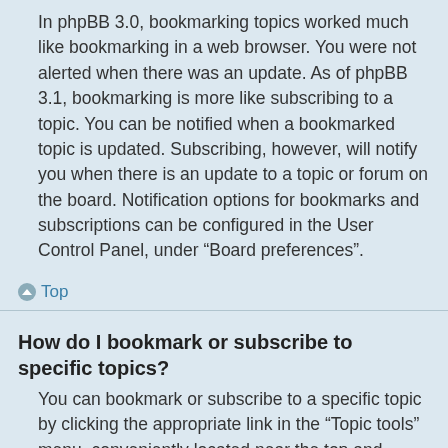In phpBB 3.0, bookmarking topics worked much like bookmarking in a web browser. You were not alerted when there was an update. As of phpBB 3.1, bookmarking is more like subscribing to a topic. You can be notified when a bookmarked topic is updated. Subscribing, however, will notify you when there is an update to a topic or forum on the board. Notification options for bookmarks and subscriptions can be configured in the User Control Panel, under “Board preferences”.
Top
How do I bookmark or subscribe to specific topics?
You can bookmark or subscribe to a specific topic by clicking the appropriate link in the “Topic tools” menu, conveniently located near the top and bottom of a topic discussion.
Replying to a topic with the “Notify me when a reply is posted” option checked will also subscribe you to the